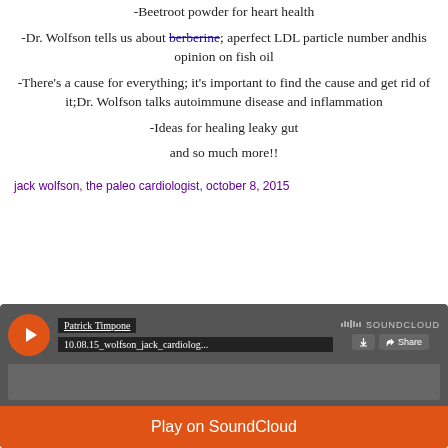-Beetroot powder for heart health
-Dr. Wolfson tells us about berberine; aperfect LDL particle number andhis opinion on fish oil
-There’s a cause for everything; it’s important to find the cause and get rid of it;Dr. Wolfson talks autoimmune disease and inflammation
-Ideas for healing leaky gut
and so much more!!
jack wolfson, the paleo cardiologist, october 8, 2015
[Figure (screenshot): SoundCloud embedded player showing Patrick Timpone track 10.08.15_wolfson_jack_cardiolog... with play button, download and share buttons, and a Play on SoundCloud orange button at the bottom.]